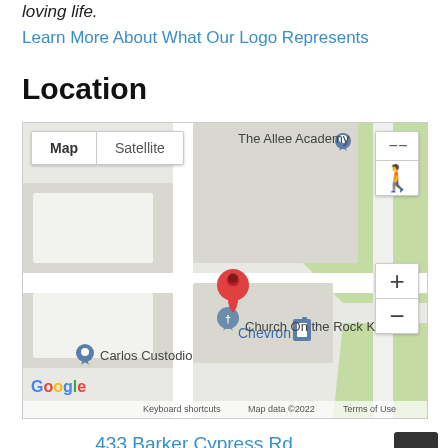loving life.
Learn More About What Our Logo Represents
Location
[Figure (map): Google Maps showing location near 433 Barker Cypress Rd, Houston, TX 77094. Shows Chevron, Carlos Custodio, Church On the Rock Ka, and The Allee Academy landmarks. Has Map/Satellite toggle, zoom controls, and pegman icon.]
433 Barker Cypress Rd
Houston, TX 77094
Follow Us